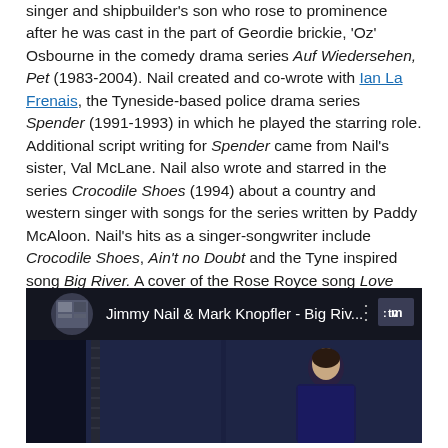singer and shipbuilder's son who rose to prominence after he was cast in the part of Geordie brickie, 'Oz' Osbourne in the comedy drama series Auf Wiedersehen, Pet (1983-2004). Nail created and co-wrote with Ian La Frenais, the Tyneside-based police drama series Spender (1991-1993) in which he played the starring role. Additional script writing for Spender came from Nail's sister, Val McLane. Nail also wrote and starred in the series Crocodile Shoes (1994) about a country and western singer with songs for the series written by Paddy McAloon. Nail's hits as a singer-songwriter include Crocodile Shoes, Ain't no Doubt and the Tyne inspired song Big River. A cover of the Rose Royce song Love Don't Live Here Anymore was another hit for Nail.
[Figure (screenshot): YouTube/MTV video thumbnail showing 'Jimmy Nail & Mark Knopfler - Big Riv...' with MTV logo in top right corner and a person visible in the frame against a dark blue background]